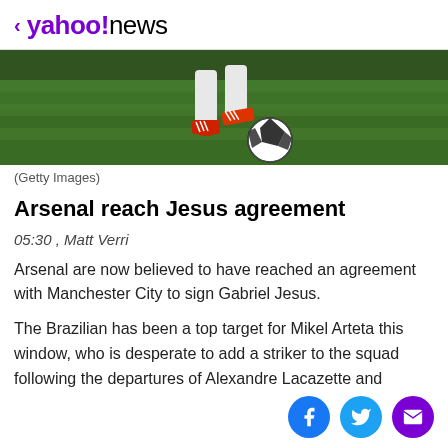< yahoo!news
[Figure (photo): Cropped photo of a soccer player's feet and legs wearing red Adidas cleats, kicking a black and white soccer ball on a green field.]
(Getty Images)
Arsenal reach Jesus agreement
05:30 , Matt Verri
Arsenal are now believed to have reached an agreement with Manchester City to sign Gabriel Jesus.
The Brazilian has been a top target for Mikel Arteta this window, who is desperate to add a striker to the squad following the departures of Alexandre Lacazette and